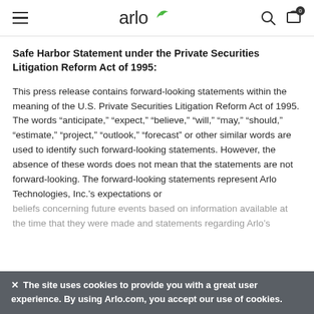arlo (logo with bird icon) — navigation bar with hamburger menu, search icon, and cart icon
Safe Harbor Statement under the Private Securities Litigation Reform Act of 1995:
This press release contains forward-looking statements within the meaning of the U.S. Private Securities Litigation Reform Act of 1995. The words “anticipate,” “expect,” “believe,” “will,” “may,” “should,” “estimate,” “project,” “outlook,” “forecast” or other similar words are used to identify such forward-looking statements. However, the absence of these words does not mean that the statements are not forward-looking. The forward-looking statements represent Arlo Technologies, Inc.’s expectations or beliefs concerning future events based on information available at the time that they were made and statements regarding Arlo’s
The site uses cookies to provide you with a great user experience. By using Arlo.com, you accept our use of cookies.